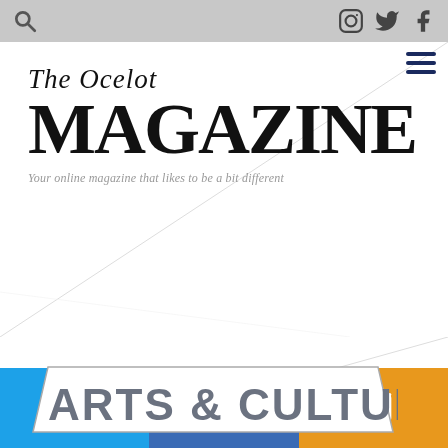The Ocelot Magazine — Your online magazine that likes to be a bit different
The Ocelot MAGAZINE — Your online magazine that likes to be a bit different
Arts & Culture
Twitter | Facebook | Email